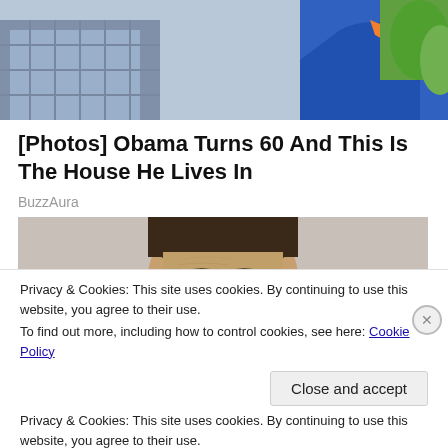[Figure (photo): Top portion of a photo showing people outdoors, partially cropped - a man in a plaid shirt visible on the left and a woman in a blue top with orange accent on the right, with green foliage in the background.]
[Photos] Obama Turns 60 And This Is The House He Lives In
BuzzAura
[Figure (photo): Close-up photo of a woman with slicked-back dark hair, looking just over the top of an ornate wooden frame or barrier. The background is light grey.]
Privacy & Cookies: This site uses cookies. By continuing to use this website, you agree to their use.
To find out more, including how to control cookies, see here: Cookie Policy
Close and accept